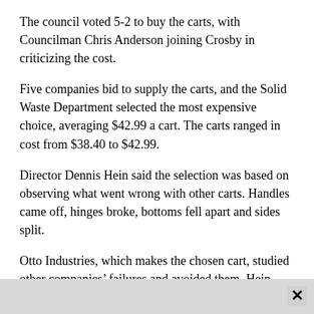The council voted 5-2 to buy the carts, with Councilman Chris Anderson joining Crosby in criticizing the cost.
Five companies bid to supply the carts, and the Solid Waste Department selected the most expensive choice, averaging $42.99 a cart. The carts ranged in cost from $38.40 to $42.99.
Director Dennis Hein said the selection was based on observing what went wrong with other carts. Handles came off, hinges broke, bottoms fell apart and sides split.
Otto Industries, which makes the chosen cart, studied other companies’ failures and avoided them, Hein said. The cart has at least a 20-year life span and comes in four sizes. All are compatible with the city’s three automated trucks.